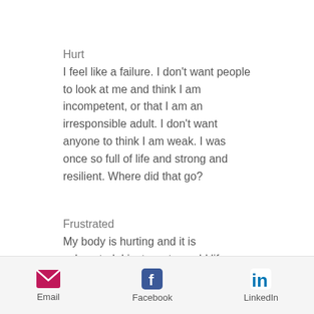Hurt
I feel like a failure. I don't want people to look at me and think I am incompetent, or that I am an irresponsible adult. I don't want anyone to think I am weak. I was once so full of life and strong and resilient. Where did that go?
Frustrated
My body is hurting and it is exhausted. I just want my old life back - to play softball, to dance, to be able to go out and to have the finances to do so. I want to feel free again.
Email  Facebook  LinkedIn